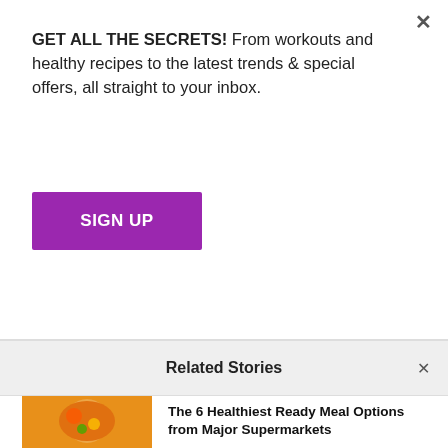GET ALL THE SECRETS! From workouts and healthy recipes to the latest trends & special offers, all straight to your inbox.
SIGN UP
The Biggest Winner
EXPERT TIPS, FEATURES, TRENDING
[Figure (photo): Woman in fitness outfit posing against white background]
Why You Should Listen to Music While Working Out
[Figure (photo): Person running outdoors near tall buildings]
Related Stories
The 6 Healthiest Ready Meal Options from Major Supermarkets
[Figure (photo): Bowl of curry dish with vegetables]